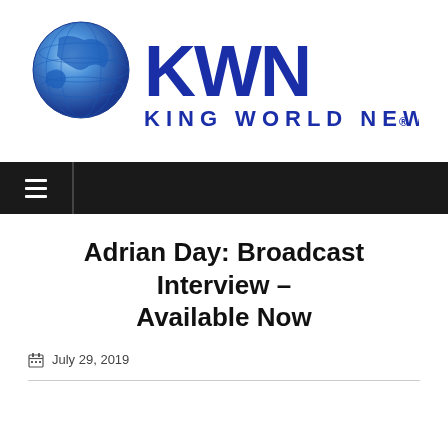[Figure (logo): KWN King World News logo with globe graphic and blue text]
Adrian Day: Broadcast Interview – Available Now
July 29, 2019